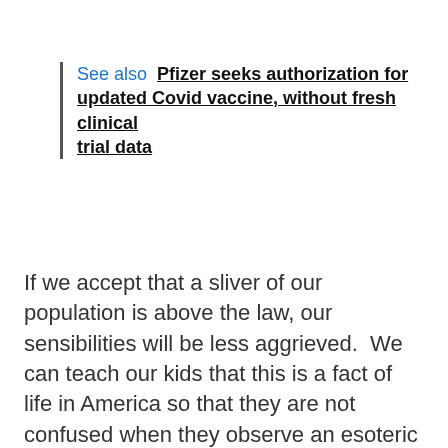See also  Pfizer seeks authorization for updated Covid vaccine, without fresh clinical trial data
If we accept that a sliver of our population is above the law, our sensibilities will be less aggrieved.  We can teach our kids that this is a fact of life in America so that they are not confused when they observe an esoteric group of people getting away with crimes that would send them to the hoosegow in a heartbeat.
Perhaps, as a sort of recompense, we can